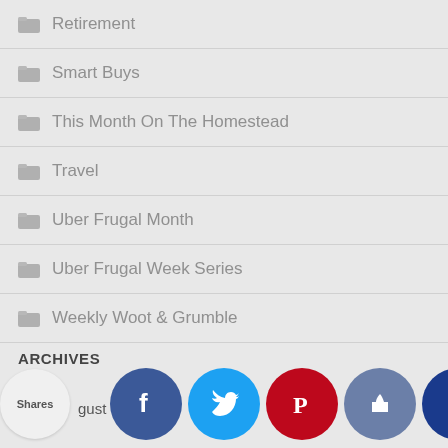Retirement
Smart Buys
This Month On The Homestead
Travel
Uber Frugal Month
Uber Frugal Week Series
Weekly Woot & Grumble
ARCHIVES
[Figure (infographic): Social share bar with circles: Shares bubble, Facebook (f), Twitter (bird), Pinterest (P), Like (thumbs up), Crown icon. Partial text 'gust' visible.]